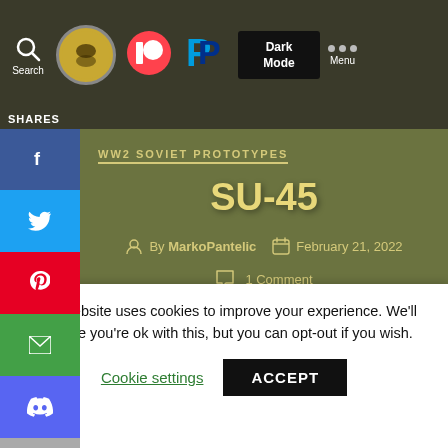Search | [logo] | [Patreon] | [PayPal] | Dark Mode | Menu
SHARES
WW2 SOVIET PROTOTYPES
SU-45
By MarkoPantelic  February 21, 2022
1 Comment
[Figure (photo): Partial view of a military tank (SU-45 Soviet prototype) in an olive-colored scene]
This website uses cookies to improve your experience. We'll assume you're ok with this, but you can opt-out if you wish. Cookie settings  ACCEPT